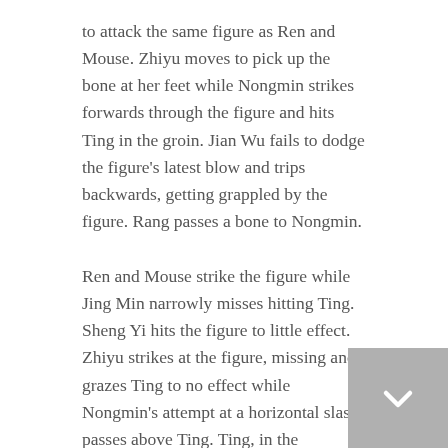to attack the same figure as Ren and Mouse. Zhiyu moves to pick up the bone at her feet while Nongmin strikes forwards through the figure and hits Ting in the groin. Jian Wu fails to dodge the figure's latest blow and trips backwards, getting grappled by the figure. Rang passes a bone to Nongmin.
Ren and Mouse strike the figure while Jing Min narrowly misses hitting Ting. Sheng Yi hits the figure to little effect. Zhiyu strikes at the figure, missing and grazes Ting to no effect while Nongmin's attempt at a horizontal slash passes above Ting. Ting, in the meantime, attempts to punch the figure again while Jian Wu breaks free from the figure and dodges the figures attempt to hug him again. Ting continues to get drained as Rang hands Jing Min a bone.
Ren and Mouse strike at the figure, dispersing it. Jing Min uses the bone to grapple the figure while Sheng Yi runs forwards and misses the figure, hitting Jing Min. Zhiyu moves to heal Ting's injuries, only healing the stab wound in Ting's groin. Ting punches, the healed knuckles passing through the figure and hitting Jing Min instead. Jian Wu runs forwards and strikes down the figure leaving Jing Min to fall onto Ting. The only response he